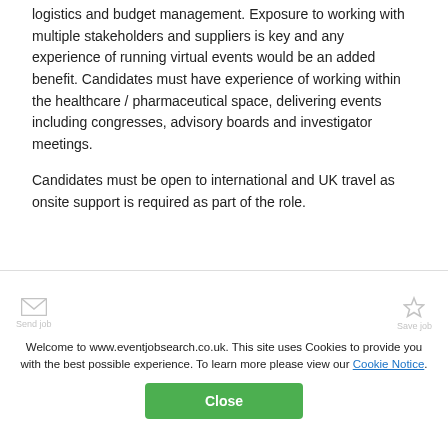logistics and budget management. Exposure to working with multiple stakeholders and suppliers is key and any experience of running virtual events would be an added benefit. Candidates must have experience of working within the healthcare / pharmaceutical space, delivering events including congresses, advisory boards and investigator meetings.

Candidates must be open to international and UK travel as onsite support is required as part of the role.
Welcome to www.eventjobsearch.co.uk. This site uses Cookies to provide you with the best possible experience. To learn more please view our Cookie Notice.